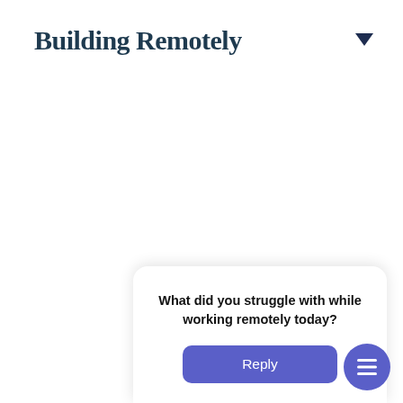Building Remotely
[Figure (screenshot): A dropdown/collapse arrow icon (filled dark triangle pointing down) at top right]
[Figure (screenshot): A white card UI element with a collapse chevron button above it, containing a bold question 'What did you struggle with while working remotely today?' and a blue Reply button, plus a purple FAB button with hamburger icon at bottom right]
What did you struggle with while working remotely today?
Reply